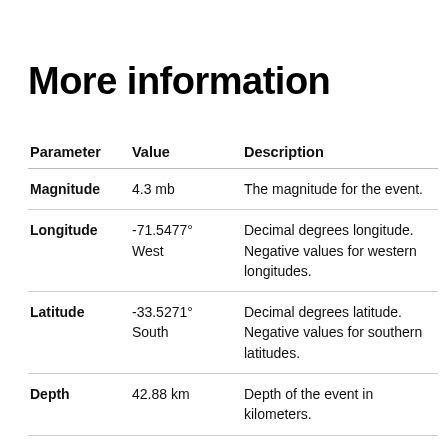More information
| Parameter | Value | Description |
| --- | --- | --- |
| Magnitude | 4.3 mb | The magnitude for the event. |
| Longitude | -71.5477°
West | Decimal degrees longitude. Negative values for western longitudes. |
| Latitude | -33.5271°
South | Decimal degrees latitude. Negative values for southern latitudes. |
| Depth | 42.88 km | Depth of the event in kilometers. |
| Place | 6 km ENE of | Textual description of named geographic region near to the |